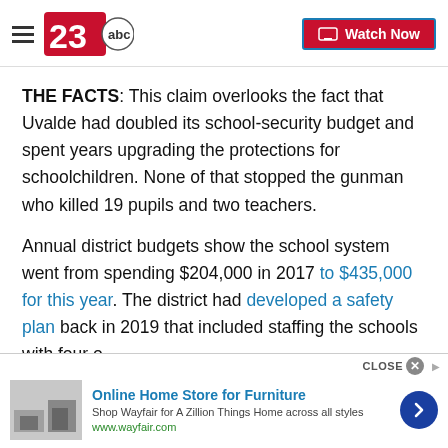23ABC News — Watch Now
THE FACTS: This claim overlooks the fact that Uvalde had doubled its school-security budget and spent years upgrading the protections for schoolchildren. None of that stopped the gunman who killed 19 pupils and two teachers.
Annual district budgets show the school system went from spending $204,000 in 2017 to $435,000 for this year. The district had developed a safety plan back in 2019 that included staffing the schools with four officers and four cameras. It also installed a f…
[Figure (screenshot): Advertisement banner for Wayfair Online Home Store for Furniture with close button, product image, ad text, and navigation arrow]